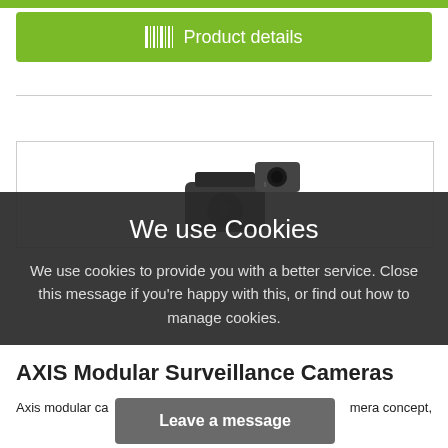[Figure (screenshot): Green top bar]
Product details
[Figure (screenshot): Product image box with camera devices]
We use Cookies
We use cookies to provide you with a better service. Close this message if you're happy with this, or find out how to manage cookies.
AXIS Modular Surveillance Cameras
Axis modular ca...mera concept,
Leave a message